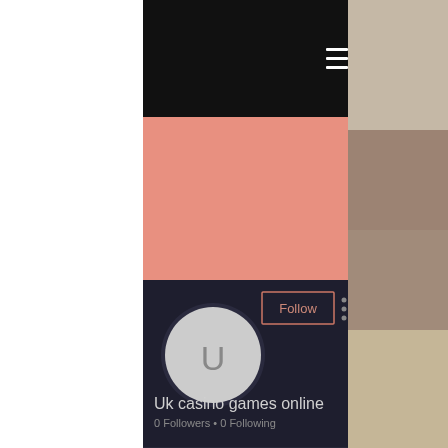[Figure (screenshot): Mobile website user profile page screenshot. Black top navigation bar with hamburger menu icon, salmon/pink profile banner area, dark background profile section with circular avatar showing letter U, Follow button with three-dot menu, username 'Uk casino games online', follower stats, dropdown chevron, Profile section heading, and join date.]
Uk casino games online
0 Followers • 0 Following
Profile
Join date: May 18, 2022